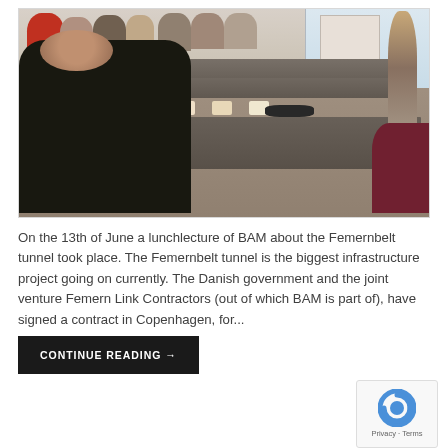[Figure (photo): A meeting room scene showing people seated at long tables listening to a presenter standing near a whiteboard. Coffee cups and headphones are visible on the tables. Large windows provide natural light.]
On the 13th of June a lunchlecture of BAM about the Femernbelt tunnel took place. The Femernbelt tunnel is the biggest infrastructure project going on currently. The Danish government and the joint venture Femern Link Contractors (out of which BAM is part of), have signed a contract in Copenhagen, for...
CONTINUE READING→